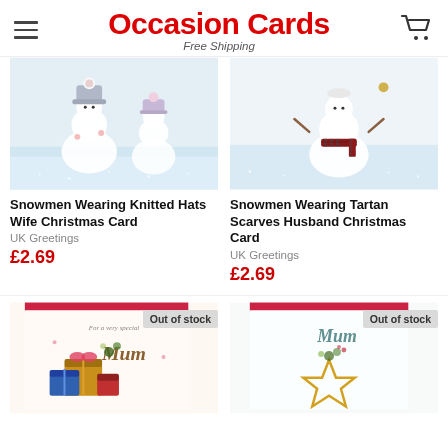Occasion Cards – Free Shipping
[Figure (photo): Snowmen wearing knitted hats Christmas card product image on snowy background]
Snowmen Wearing Knitted Hats Wife Christmas Card
UK Greetings
£2.69
[Figure (photo): Snowmen wearing tartan scarves Christmas card product image on snowy background]
Snowmen Wearing Tartan Scarves Husband Christmas Card
UK Greetings
£2.69
[Figure (photo): Mum Christmas card with stacked presents illustration, marked Out of stock]
[Figure (photo): Mum Christmas card with star and floral illustration, marked Out of stock]